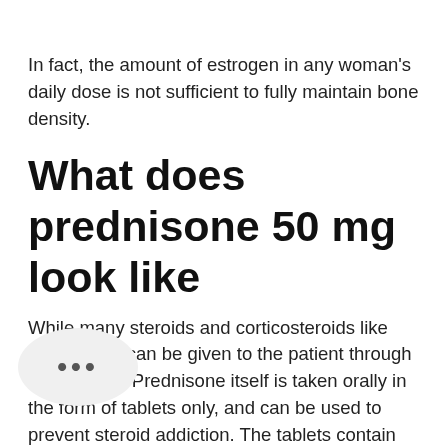In fact, the amount of estrogen in any woman's daily dose is not sufficient to fully maintain bone density.
What does prednisone 50 mg look like
While many steroids and corticosteroids like Prednisone can be given to the patient through an injection, Prednisone itself is taken orally in the form of tablets only, and can be used to prevent steroid addiction. The tablets contain testosterone, a male hormone that is produced in the body in response to the need for high energy or quick energy. Ingestion of Prednisone usually stops the man from building or maintaining muscle mass, and prevents the from using his steroid in an active, ive manner, 50 prednisone does look mg like what.